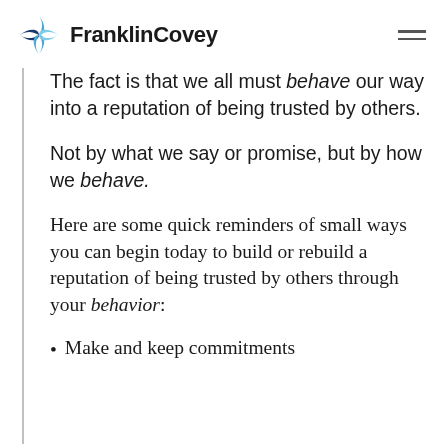FranklinCovey
The fact is that we all must behave our way into a reputation of being trusted by others.
Not by what we say or promise, but by how we behave.
Here are some quick reminders of small ways you can begin today to build or rebuild a reputation of being trusted by others through your behavior:
Make and keep commitments